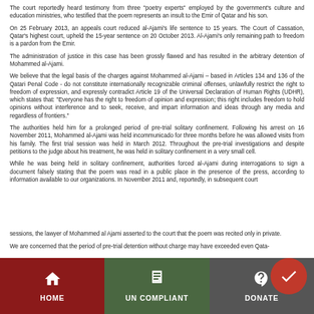The court reportedly heard testimony from three "poetry experts" employed by the government's culture and education ministries, who testified that the poem represents an insult to the Emir of Qatar and his son.
On 25 February 2013, an appeals court reduced al-Ajami's life sentence to 15 years. The Court of Cassation, Qatar's highest court, upheld the 15-year sentence on 20 October 2013. Al-Ajami's only remaining path to freedom is a pardon from the Emir.
The administration of justice in this case has been grossly flawed and has resulted in the arbitrary detention of Mohammed al-Ajami.
We believe that the legal basis of the charges against Mohammed al-Ajami – based in Articles 134 and 136 of the Qatari Penal Code - do not constitute internationally recognizable criminal offenses, unlawfully restrict the right to freedom of expression, and expressly contradict Article 19 of the Universal Declaration of Human Rights (UDHR), which states that: "Everyone has the right to freedom of opinion and expression; this right includes freedom to hold opinions without interference and to seek, receive, and impart information and ideas through any media and regardless of frontiers."
The authorities held him for a prolonged period of pre-trial solitary confinement. Following his arrest on 16 November 2011, Mohammed al-Ajami was held incommunicado for three months before he was allowed visits from his family. The first trial session was held in March 2012. Throughout the pre-trial investigations and despite petitions to the judge about his treatment, he was held in solitary confinement in a very small cell.
While he was being held in solitary confinement, authorities forced al-Ajami during interrogations to sign a document falsely stating that the poem was read in a public place in the presence of the press, according to information available to our organizations. In November 2011 and, reportedly, in subsequent court
sessions, the lawyer of Mohammed al Ajami asserted to the court that the poem was recited only in private.
We are concerned that the period of pre-trial detention without charge may have exceeded even Qata-
[Figure (other): Mobile app navigation footer bar with three sections: HOME (dark red), UN COMPLIANT (dark green), DONATE (dark gray), with a red circular floating action button on the right]